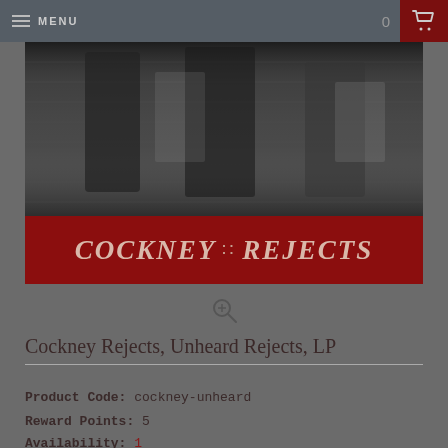MENU
[Figure (photo): Black and white photograph of the Cockney Rejects band members standing against a brick wall, with a dark red banner at the bottom reading COCKNEY REJECTS in large italic serif font]
Cockney Rejects, Unheard Rejects, LP
Product Code: cockney-unheard
Reward Points: 5
Availability: 1